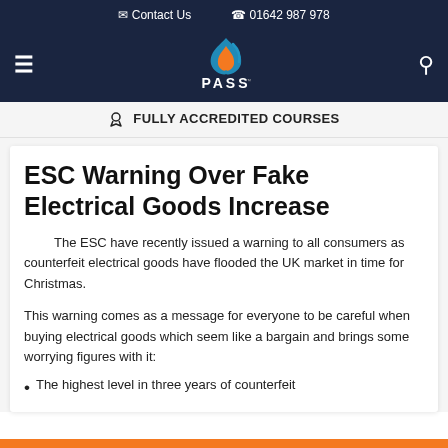Contact Us   01642 987 978
[Figure (logo): PASS logo with stylized orange and blue flame icon above text PASS]
FULLY ACCREDITED COURSES
ESC Warning Over Fake Electrical Goods Increase
The ESC have recently issued a warning to all consumers as counterfeit electrical goods have flooded the UK market in time for Christmas.
This warning comes as a message for everyone to be careful when buying electrical goods which seem like a bargain and brings some worrying figures with it:
The highest level in three years of counterfeit